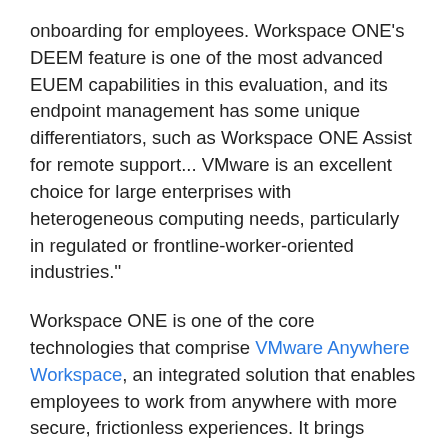onboarding for employees. Workspace ONE's DEEM feature is one of the most advanced EUEM capabilities in this evaluation, and its endpoint management has some unique differentiators, such as Workspace ONE Assist for remote support... VMware is an excellent choice for large enterprises with heterogeneous computing needs, particularly in regulated or frontline-worker-oriented industries."
Workspace ONE is one of the core technologies that comprise VMware Anywhere Workspace, an integrated solution that enables employees to work from anywhere with more secure, frictionless experiences. It brings together Workspace ONE with VMware Carbon Black Cloud and VMware SASE.
Workspace ONE UEM, part of the Workspace ONE platform, provides a comprehensive solution that enables companies to manage and better secure any device across all platforms. It incorporates modern device management, application management, and